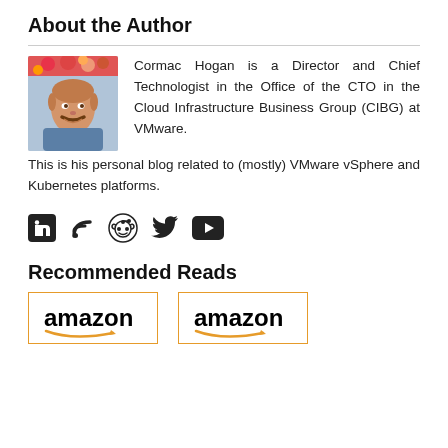About the Author
[Figure (photo): Headshot of Cormac Hogan, smiling man with mustache wearing a blue shirt, with a colorful floral arrangement in the background.]
Cormac Hogan is a Director and Chief Technologist in the Office of the CTO in the Cloud Infrastructure Business Group (CIBG) at VMware. This is his personal blog related to (mostly) VMware vSphere and Kubernetes platforms.
[Figure (infographic): Social media icons: LinkedIn, RSS feed, Reddit, Twitter, YouTube]
Recommended Reads
[Figure (logo): Amazon logo (left)]
[Figure (logo): Amazon logo (right)]